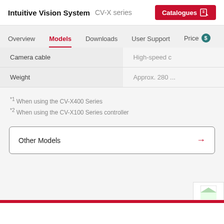Intuitive Vision System  CV-X series  Catalogues
Overview  Models  Downloads  User Support  Price
|  |  |
| --- | --- |
| Camera cable | High-speed c... |
| Weight | Approx. 280 ... |
*1 When using the CV-X400 Series
*2 When using the CV-X100 Series controller
Other Models →